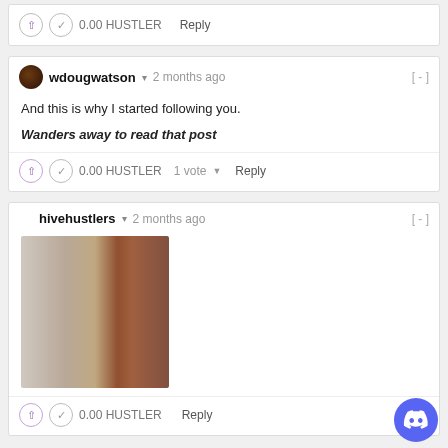0.00 HUSTLER   Reply
wdougwatson ▾ 2 months ago
And this is why I started following you.
Wanders away to read that post
0.00 HUSTLER   1 vote ▾   Reply
hivehustlers ▾ 2 months ago
[Figure (photo): Blurry GIF image showing a person walking away through a doorway, brown/beige tones]
0.00 HUSTLER   Reply